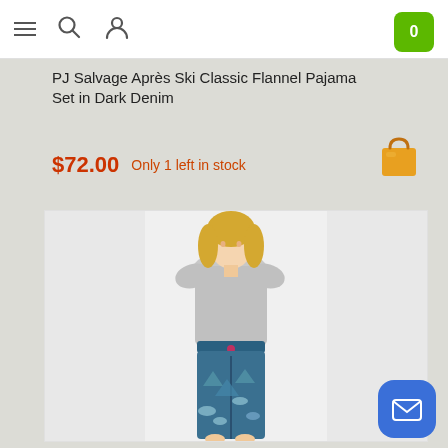Navigation bar with menu, search, user, and cart icons
PJ Salvage Après Ski Classic Flannel Pajama Set in Dark Denim
$72.00  Only 1 left in stock
[Figure (photo): Woman wearing gray long-sleeve top and blue flannel pajama pants with ski/mountain print and pink drawstring, standing against light background]
[Figure (other): Orange shopping bag emoji icon]